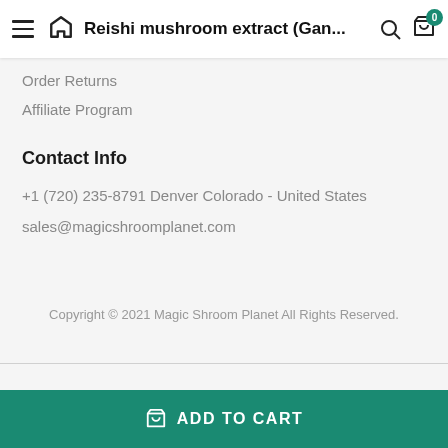Reishi mushroom extract (Gan...
Order Returns
Affiliate Program
Contact Info
+1 (720) 235-8791 Denver Colorado - United States
sales@magicshroomplanet.com
Copyright © 2021 Magic Shroom Planet All Rights Reserved.
ADD TO CART